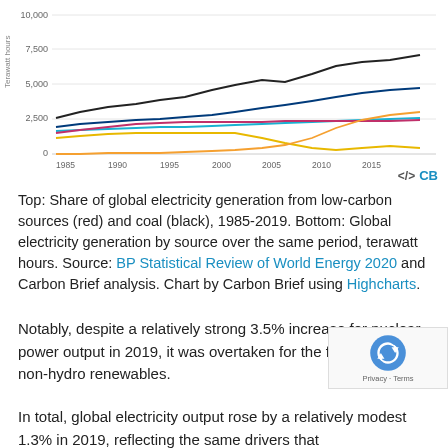[Figure (line-chart): Global electricity generation by source, terawatt hours]
Top: Share of global electricity generation from low-carbon sources (red) and coal (black), 1985-2019. Bottom: Global electricity generation by source over the same period, terawatt hours. Source: BP Statistical Review of World Energy 2020 and Carbon Brief analysis. Chart by Carbon Brief using Highcharts.
Notably, despite a relatively strong 3.5% increase for nuclear power output in 2019, it was overtaken for the first time by non-hydro renewables.
In total, global electricity output rose by a relatively modest 1.3% in 2019, reflecting the same drivers that